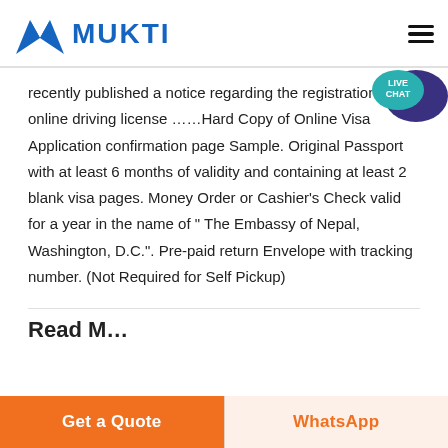MUKTI
recently published a notice regarding the registration of online driving license ……Hard Copy of Online Visa Application confirmation page Sample. Original Passport with at least 6 months of validity and containing at least 2 blank visa pages. Money Order or Cashier's Check valid for a year in the name of "The Embassy of Nepal, Washington, D.C.". Pre-paid return Envelope with tracking number. (Not Required for Self Pickup)
Get a Quote | WhatsApp